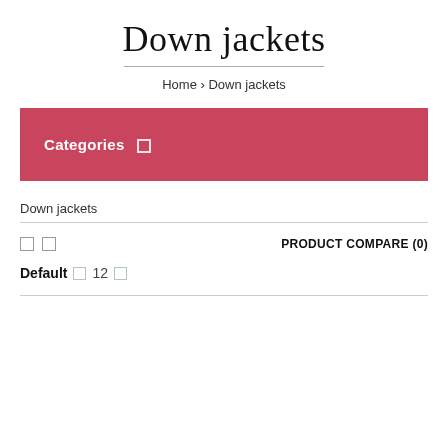Down jackets
Home › Down jackets
Categories
Down jackets
PRODUCT COMPARE (0)
Default  12